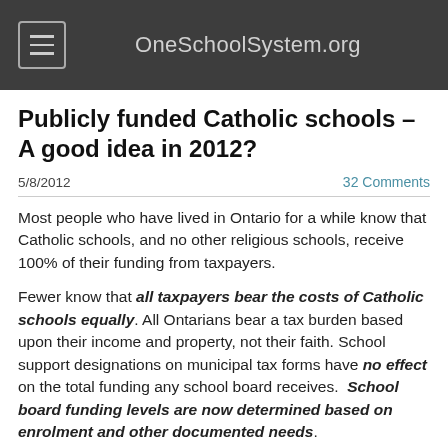OneSchoolSystem.org
Publicly funded Catholic schools – A good idea in 2012?
5/8/2012   32 Comments
Most people who have lived in Ontario for a while know that Catholic schools, and no other religious schools, receive 100% of their funding from taxpayers.
Fewer know that all taxpayers bear the costs of Catholic schools equally. All Ontarians bear a tax burden based upon their income and property, not their faith. School support designations on municipal tax forms have no effect on the total funding any school board receives.  School board funding levels are now determined based on enrolment and other documented needs.